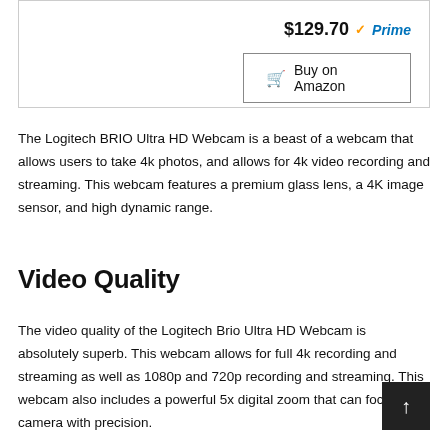$129.70 Prime
Buy on Amazon
The Logitech BRIO Ultra HD Webcam is a beast of a webcam that allows users to take 4k photos, and allows for 4k video recording and streaming. This webcam features a premium glass lens, a 4K image sensor, and high dynamic range.
Video Quality
The video quality of the Logitech Brio Ultra HD Webcam is absolutely superb. This webcam allows for full 4k recording and streaming as well as 1080p and 720p recording and streaming. This webcam also includes a powerful 5x digital zoom that can focus the camera with precision.